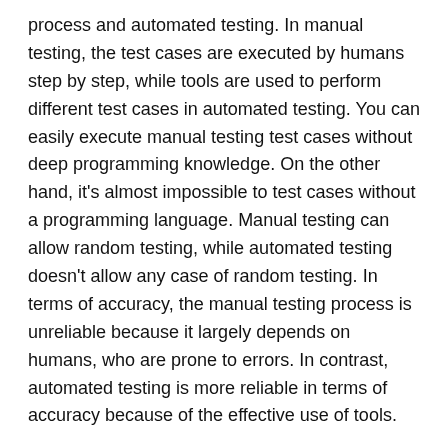process and automated testing. In manual testing, the test cases are executed by humans step by step, while tools are used to perform different test cases in automated testing. You can easily execute manual testing test cases without deep programming knowledge. On the other hand, it's almost impossible to test cases without a programming language. Manual testing can allow random testing, while automated testing doesn't allow any case of random testing. In terms of accuracy, the manual testing process is unreliable because it largely depends on humans, who are prone to errors. In contrast, automated testing is more reliable in terms of accuracy because of the effective use of tools.
Here are factors that make automated software testing results more reliable than manual testing